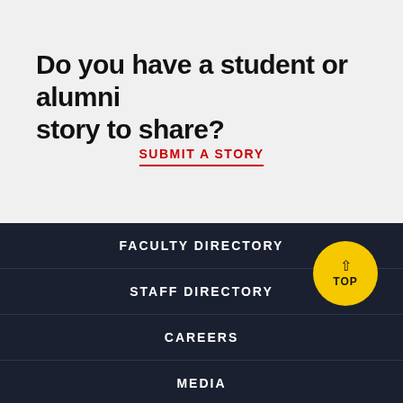Do you have a student or alumni story to share?
SUBMIT A STORY
FACULTY DIRECTORY
STAFF DIRECTORY
CAREERS
MEDIA